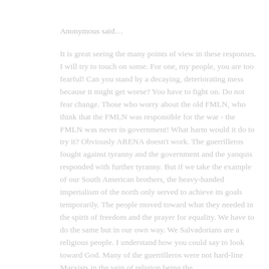Anonymous said…
It is great seeing the many points of view in these responses. I will try to touch on some. For one, my people, you are too fearful! Can you stand by a decaying, deteriorating mess because it might get worse? You have to fight on. Do not fear change. Those who worry about the old FMLN, who think that the FMLN was responsible for the war - the FMLN was never in government! What harm would it do to try it? Obviously ARENA doesn't work. The guerrilleros fought against tyranny and the government and the yanquis responded with further tyranny. But if we take the example of our South American brothers, the heavy-handed imperialism of the north only served to achieve its goals temporarily. The people moved toward what they needed in the spirit of freedom and the prayer for equality. We have to do the same but in our own way. We Salvadorians are a religious people. I understand how you could say to look toward God. Many of the guerrilleros were not hard-line Marxists in the vein of religion being the